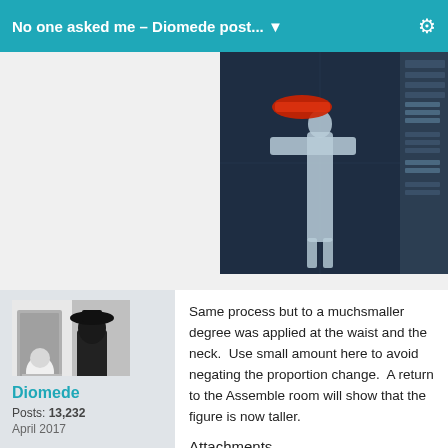No one asked me – Diomede post...
[Figure (screenshot): 3D software screenshot showing a human figure in T-pose with a red element above, rendered in a dark blue interface with panel on the right]
[Figure (photo): Black and white artistic avatar image showing figures, one in a hat]
Diomede
Posts: 13,232
April 2017
Same process but to a muchsmaller degree was applied at the waist and the neck.  Use small amount here to avoid negating the proportion change.  A return to the Assemble room will show that the figure is now taller.
Attachments
[Figure (screenshot): Bottom partial screenshot of 3D software interface, dark blue background]